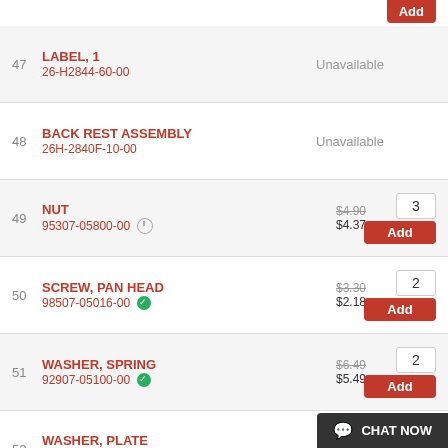47 LABEL, 1 | 26-H2844-60-00 | Unavailable
48 BACK REST ASSEMBLY | 26H-2840F-10-00 | Unavailable
49 NUT | 95307-05800-00 | $4.90 (orig) $4.37 | qty: 3 | Add
50 SCREW, PAN HEAD | 98507-05016-00 | $3.30 (orig) $2.18 | qty: 2 | Add
51 WASHER, SPRING | 92907-05100-00 | $6.49 (orig) $5.49 | qty: 2 | Add
52 WASHER, PLATE | 90202-05147-00 | $4.90 (orig) $4.37 | qty: 5 | Add